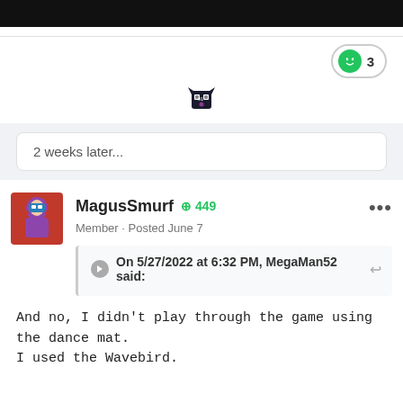[Figure (screenshot): Dark top bar (forum header)]
[Figure (illustration): Reaction button showing green smiley face emoji with count 3]
[Figure (illustration): Small pixel wolf/cat icon used as post separator]
2 weeks later...
[Figure (illustration): Forum user avatar for MagusSmurf showing a fantasy character]
MagusSmurf +449 Member · Posted June 7
On 5/27/2022 at 6:32 PM, MegaMan52 said:
And no, I didn't play through the game using the dance mat. I used the Wavebird.